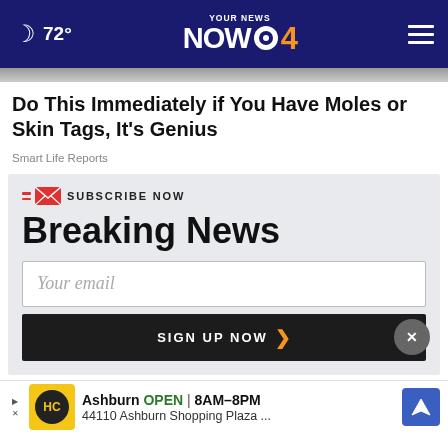72° YOUR NEWS NOW CBS 4
Do This Immediately if You Have Moles or Skin Tags, It's Genius
Smart Life Reports
SUBSCRIBE NOW
Breaking News
Your email
SIGN UP NOW
Ashburn OPEN | 8AM–8PM 44110 Ashburn Shopping Plaza ...